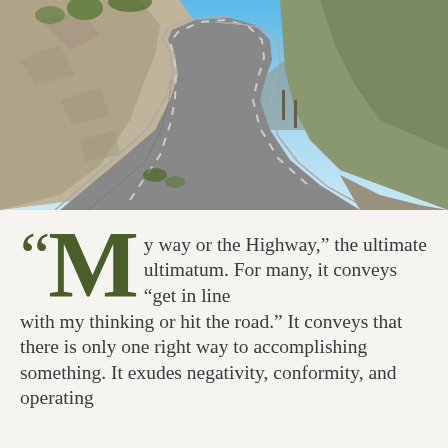[Figure (photo): A winding mountain road carved into rocky cliffs, with mountains and blue sky in the background. The road curves through a dramatic rocky landscape.]
“My way or the Highway,” the ultimate ultimatum. For many, it conveys “get in line with my thinking or hit the road.” It conveys that there is only one right way to accomplishing something. It exudes negativity, conformity, and operating